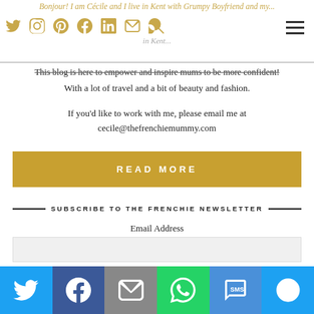Bonjour! I am Cécile and I live in Kent with Grumpy Boyfriend and my...
This blog is here to empower and inspire mums to be more confident! With a lot of travel and a bit of beauty and fashion.
If you'd like to work with me, please email me at cecile@thefrenchiemummy.com
READ MORE
SUBSCRIBE TO THE FRENCHIE NEWSLETTER
Email Address
SUBMIT
[Figure (other): Social share bar with Twitter, Facebook, Email, WhatsApp, SMS, and more buttons]